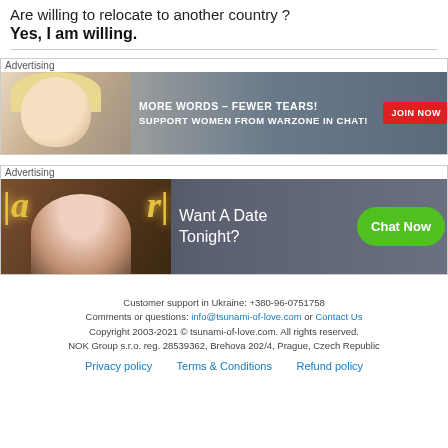Are willing to relocate to another country ?
Yes, I am willing.
[Figure (illustration): Advertising banner with blonde woman, text 'MORE WORDS – FEWER TEARS! SUPPORT WOMEN FROM WARZONE IN CHAT!' and red JOIN NOW button]
[Figure (illustration): Advertising banner with woman and neon lights, text 'Want A Date Tonight?' and green Chat Now button]
Customer support in Ukraine: +380-96-0751758
Comments or questions: info@tsunami-of-love.com or Contact Us
Copyright 2003-2021 © tsunami-of-love.com. All rights reserved.
NOK Group s.r.o. reg. 28539362, Brehova 202/4, Prague, Czech Republic
Privacy policy   Terms & Conditions   Refund policy